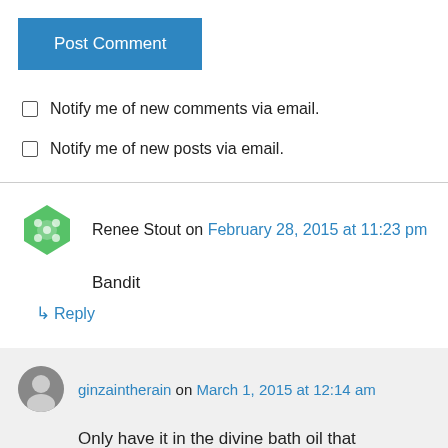[Figure (other): Blue 'Post Comment' button]
Notify me of new comments via email.
Notify me of new posts via email.
Renee Stout on February 28, 2015 at 11:23 pm
Bandit
↳ Reply
ginzaintherain on March 1, 2015 at 12:14 am
Only have it in the divine bath oil that Rafael sent us but Duncan would never